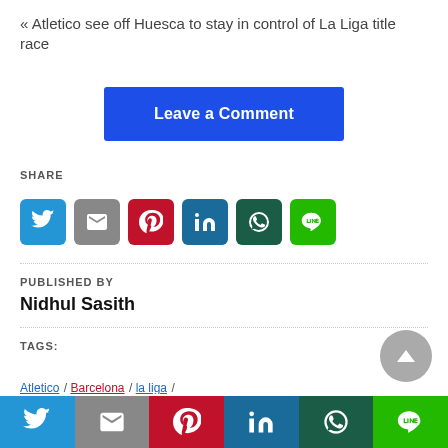« Atletico see off Huesca to stay in control of La Liga title race
Leave a Comment
SHARE
[Figure (other): Row of social share icon buttons: Twitter (blue), Gmail (gray), Pinterest (red), LinkedIn (blue), WhatsApp (dark green), Line (green)]
PUBLISHED BY
Nidhul Sasith
TAGS:
[Figure (other): Bottom fixed share bar with Twitter, Gmail, Pinterest, LinkedIn, WhatsApp, Line icons]